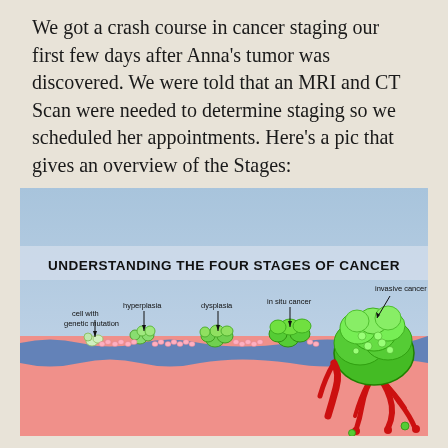We got a crash course in cancer staging our first few days after Anna's tumor was discovered. We were told that an MRI and CT Scan were needed to determine staging so we scheduled her appointments. Here's a pic that gives an overview of the Stages:
[Figure (infographic): Infographic titled 'UNDERSTANDING THE FOUR STAGES OF CANCER'. Shows a cross-section illustration of tissue progressing from normal to cancerous. Labels from left to right: 'cell with genetic mutation', 'hyperplasia', 'dysplasia', 'in situ cancer', 'invasive cancer'. The illustration shows small green cell clusters growing increasingly larger along a wavy tissue layer, culminating in a large invasive tumor mass with red blood vessels on the right side. Background is a blue-to-lavender gradient at top and pink/salmon tissue at bottom.]